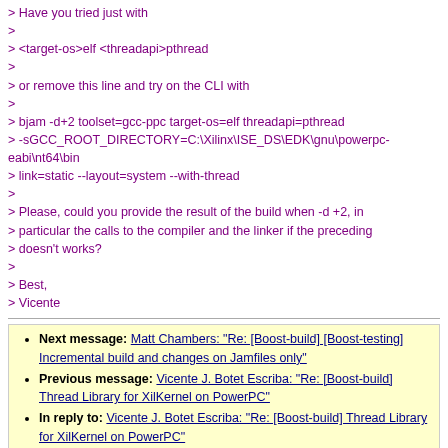> Have you tried just with
>
> <target-os>elf <threadapi>pthread
>
> or remove this line and try on the CLI with
>
> bjam -d+2 toolset=gcc-ppc target-os=elf threadapi=pthread
> -sGCC_ROOT_DIRECTORY=C:\Xilinx\ISE_DS\EDK\gnu\powerpc-eabi\nt64\bin
> link=static --layout=system --with-thread
>
> Please, could you provide the result of the build when -d +2, in
> particular the calls to the compiler and the linker if the preceding
> doesn't works?
>
> Best,
> Vicente
Next message: Matt Chambers: "Re: [Boost-build] [Boost-testing] Incremental build and changes on Jamfiles only"
Previous message: Vicente J. Botet Escriba: "Re: [Boost-build] Thread Library for XilKernel on PowerPC"
In reply to: Vicente J. Botet Escriba: "Re: [Boost-build] Thread Library for XilKernel on PowerPC"
Date view | Thread view | Subject view | Author view
Boost-Build list run by bdawes at acm.org, david.abrahams at rcn.com, gregod at cs.rpi.edu, cpdaniel at pacbell.net, john at johnmaddock.co.uk